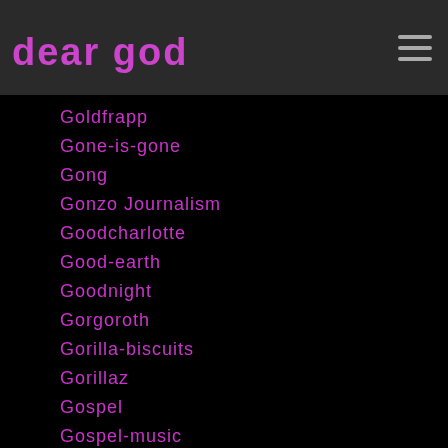dear god
Goldfrapp
Gone-is-gone
Gong
Gonzo Journalism
Goodcharlotte
Good-earth
Goodnight
Gorgoroth
Gorilla-biscuits
Gorillaz
Gospel
Gospel-music
Goteam
Goth
Goth Rock
Governmentissue
Government-issue